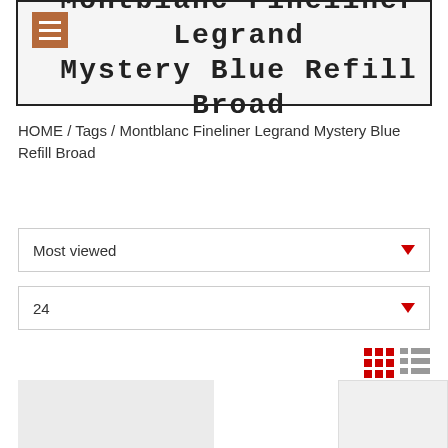Montblanc Fineliner Legrand Mystery Blue Refill Broad
HOME / Tags / Montblanc Fineliner Legrand Mystery Blue Refill Broad
Most viewed
24
[Figure (screenshot): Grid and list view toggle icons in red]
[Figure (photo): Product thumbnail placeholder left]
[Figure (photo): Product thumbnail placeholder right]